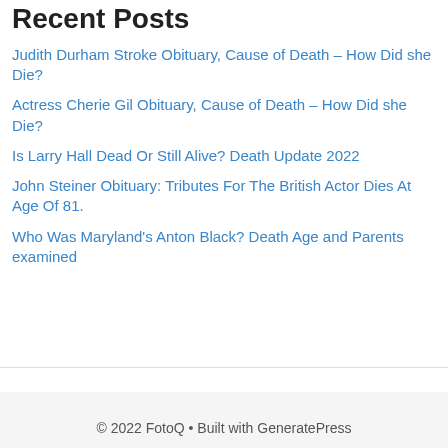Recent Posts
Judith Durham Stroke Obituary, Cause of Death – How Did she Die?
Actress Cherie Gil Obituary, Cause of Death – How Did she Die?
Is Larry Hall Dead Or Still Alive? Death Update 2022
John Steiner Obituary: Tributes For The British Actor Dies At Age Of 81.
Who Was Maryland's Anton Black? Death Age and Parents examined
© 2022 FotoQ • Built with GeneratePress